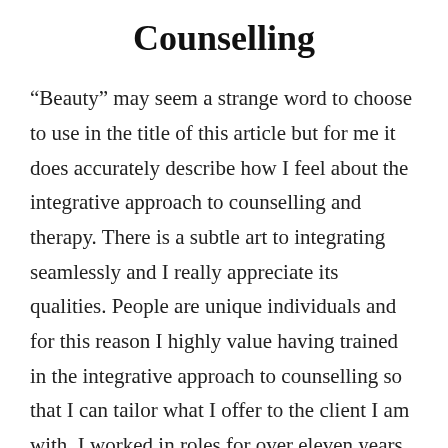Counselling
“Beauty” may seem a strange word to choose to use in the title of this article but for me it does accurately describe how I feel about the integrative approach to counselling and therapy. There is a subtle art to integrating seamlessly and I really appreciate its qualities. People are unique individuals and for this reason I highly value having trained in the integrative approach to counselling so that I can tailor what I offer to the client I am with. I worked in roles for over eleven years where for the one-to-one aspect of the job, I was employed to solely use one approach, Cognitive Behaviour Therapy (CBT). Having trained in several